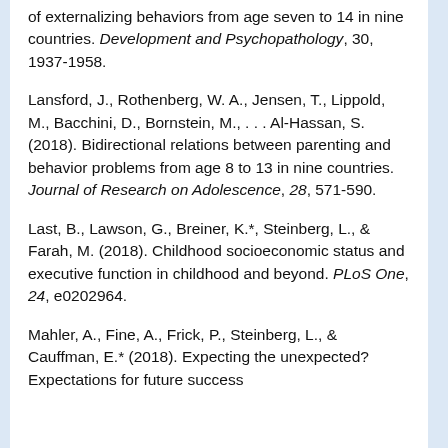of externalizing behaviors from age seven to 14 in nine countries. Development and Psychopathology, 30, 1937-1958.
Lansford, J., Rothenberg, W. A., Jensen, T., Lippold, M., Bacchini, D., Bornstein, M., . . . Al-Hassan, S. (2018). Bidirectional relations between parenting and behavior problems from age 8 to 13 in nine countries. Journal of Research on Adolescence, 28, 571-590.
Last, B., Lawson, G., Breiner, K.*, Steinberg, L., & Farah, M. (2018). Childhood socioeconomic status and executive function in childhood and beyond. PLoS One, 24, e0202964.
Mahler, A., Fine, A., Frick, P., Steinberg, L., & Cauffman, E.* (2018). Expecting the unexpected? Expectations for future success